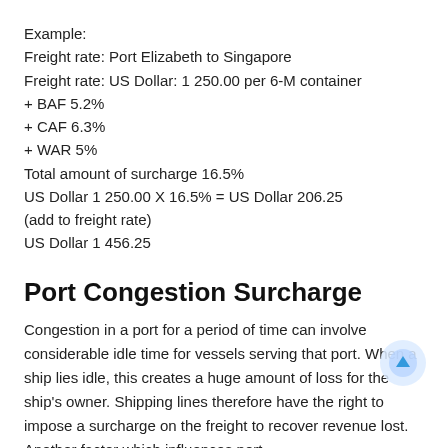Example:
Freight rate: Port Elizabeth to Singapore
Freight rate: US Dollar: 1 250.00 per 6-M container
+ BAF 5.2%
+ CAF 6.3%
+ WAR 5%
Total amount of surcharge 16.5%
US Dollar 1 250.00 X 16.5% = US Dollar 206.25
(add to freight rate)
US Dollar 1 456.25
Port Congestion Surcharge
Congestion in a port for a period of time can involve considerable idle time for vessels serving that port. When a ship lies idle, this creates a huge amount of loss for the ship's owner. Shipping lines therefore have the right to impose a surcharge on the freight to recover revenue lost. Another factor which influences port